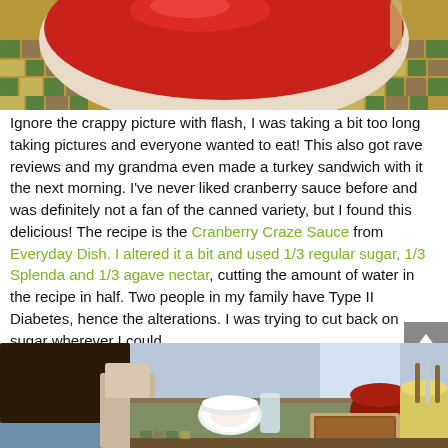[Figure (photo): Top portion of a bowl with red cranberry sauce, placed on a mosaic-patterned surface, photo taken with flash]
Ignore the crappy picture with flash, I was taking a bit too long taking pictures and everyone wanted to eat! This also got rave reviews and my grandma even made a turkey sandwich with it the next morning. I've never liked cranberry sauce before and was definitely not a fan of the canned variety, but I found this delicious! The recipe is the Cranberry Craze Sauce from Everyday Dish. I altered it a bit and used 1/3 regular sugar, 1/3 Splenda and 1/3 agave nectar, cutting the amount of water in the recipe in half. Two people in my family have Type II Diabetes, hence the alterations. I was trying to cut back on sugar wherever I could.
[Figure (photo): Dining table set with plates, glasses, and various food dishes for a family meal]